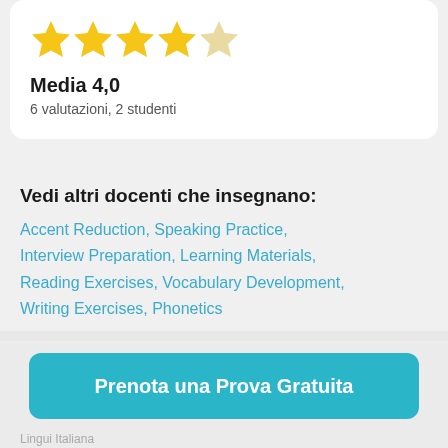[Figure (other): Five-star rating display: 4 filled gold stars and 1 half/empty star indicating a 4.0 average rating]
Media 4,0
6 valutazioni, 2 studenti
Vedi altri docenti che insegnano:
Accent Reduction, Speaking Practice, Interview Preparation, Learning Materials, Reading Exercises, Vocabulary Development, Writing Exercises, Phonetics
Tutori inglesi / Angelique
Prenota una Prova Gratuita
Lingun Italiana